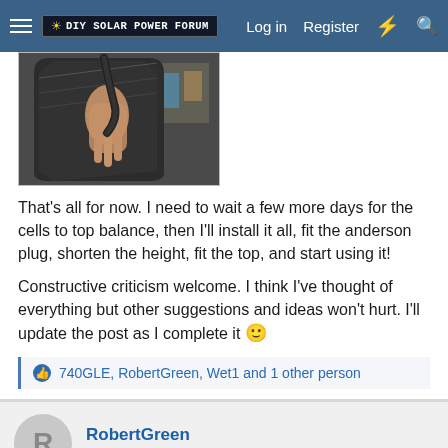DIY Solar Power Forum — Log in  Register
[Figure (photo): A photo showing a hand holding a dark metal or plastic component, possibly a battery case or enclosure, with workshop/tools visible in the background.]
That's all for now. I need to wait a few more days for the cells to top balance, then I'll install it all, fit the anderson plug, shorten the height, fit the top, and start using it!
Constructive criticism welcome. I think I've thought of everything but other suggestions and ideas won't hurt. I'll update the post as I complete it 🙂
740GLE, RobertGreen, Wet1 and 1 other person
RobertGreen
Solar Addict
Mar 19, 2022
#2